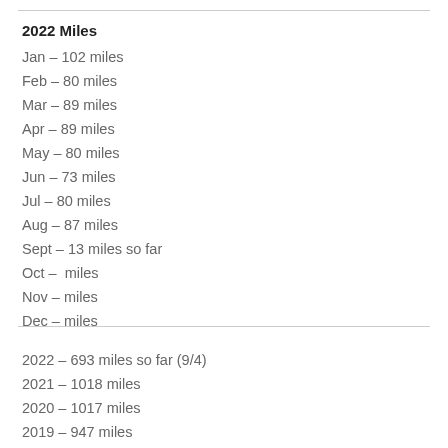2022 Miles
Jan – 102 miles
Feb – 80 miles
Mar – 89 miles
Apr – 89 miles
May – 80 miles
Jun – 73 miles
Jul – 80 miles
Aug – 87 miles
Sept – 13 miles so far
Oct –  miles
Nov – miles
Dec – miles
2022 – 693 miles so far (9/4)
2021 – 1018 miles
2020 – 1017 miles
2019 – 947 miles